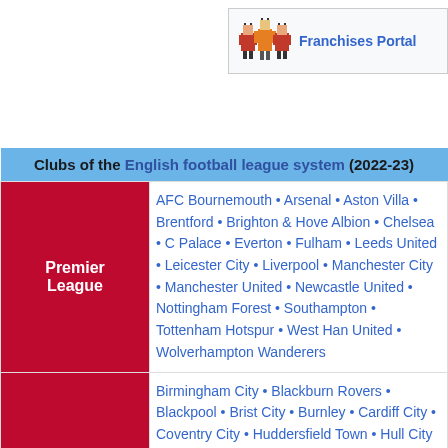[Figure (logo): Franchises Portal logo with pixel-art characters icon and blue bold text 'Franchises Portal']
| Clubs of the English football league system (2022-23) |
| --- |
| Premier League | AFC Bournemouth • Arsenal • Aston Villa • Brentford • Brighton & Hove Albion • Chelsea • Crystal Palace • Everton • Fulham • Leeds United • Leicester City • Liverpool • Manchester City • Manchester United • Newcastle United • Nottingham Forest • Southampton • Tottenham Hotspur • West Ham United • Wolverhampton Wanderers |
| League Championship | Birmingham City • Blackburn Rovers • Blackpool • Bristol City • Burnley • Cardiff City • Coventry City • Huddersfield Town • Hull City • Luton Town • Middlesbrough • Millwall • Norwich City • Preston North End • Queens Park Rangers • Reading • Rotherham United • Sheffield United • Stoke City • Sunderland • Swansea City • Watford • West Bromwich Albion • Wigan Athletic |
| League One | Accrington Stanley • Barnsley • Bolton Wanderers • Burton Rovers • Cambridge United • Charlton Athletic • Cheltenham Town • Derby County • Exeter City • Fleetwood Town • Crewe Rovers • Ipswich Town • Lincoln City • Milton Keynes... |